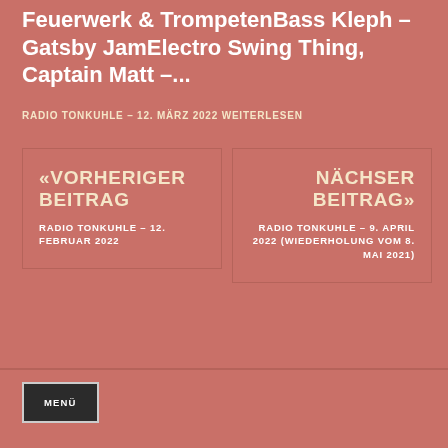Feuerwerk & TrompetenBass Kleph – Gatsby JamElectro Swing Thing, Captain Matt –...
RADIO TONKUHLE – 12. MÄRZ 2022 WEITERLESEN
«VORHERIGER BEITRAG RADIO TONKUHLE – 12. FEBRUAR 2022
NÄCHSER BEITRAG» RADIO TONKUHLE – 9. APRIL 2022 (WIEDERHOLUNG VOM 8. MAI 2021)
MENÜ